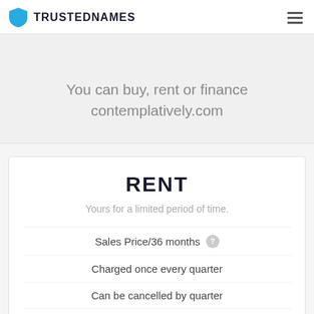TRUSTEDNAMES
Our Options
You can buy, rent or finance contemplatively.com
RENT
Yours for a limited period of time.
Sales Price/36 months
Charged once every quarter
Can be cancelled by quarter
DNS will be changed to your server